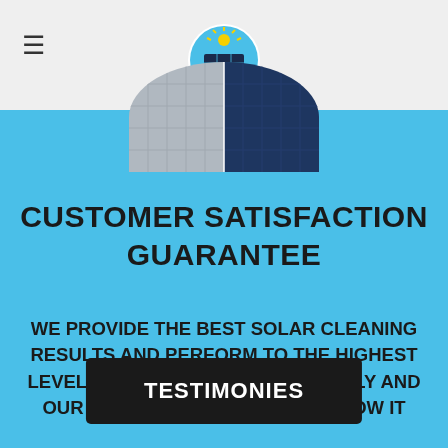BC Solar Solutions
[Figure (logo): BC Solar Solutions circular logo with solar panel imagery and text]
[Figure (photo): Solar panels before and after cleaning, shown in a circular cropped image]
CUSTOMER SATISFACTION GUARANTEE
WE PROVIDE THE BEST SOLAR CLEANING RESULTS AND PERFORM TO THE HIGHEST LEVEL. OUR CUSTOMERS ARE FAMILY AND OUR SOLAR PANEL CLEANING SHOW IT
TESTIMONIES